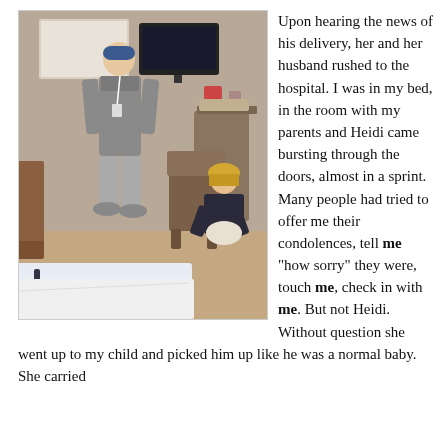[Figure (photo): A hospital room scene. A person in a grey hoodie and blue cap stands next to a seated woman with blonde hair who is holding something. A TV is mounted on the wall. Hospital bed visible in foreground.]
Upon hearing the news of his delivery, her and her husband rushed to the hospital. I was in my bed, in the room with my parents and Heidi came bursting through the doors, almost in a sprint. Many people had tried to offer me their condolences, tell me "how sorry" they were, touch me, check in with me. But not Heidi. Without question she went up to my child and picked him up like he was a normal baby. She carried